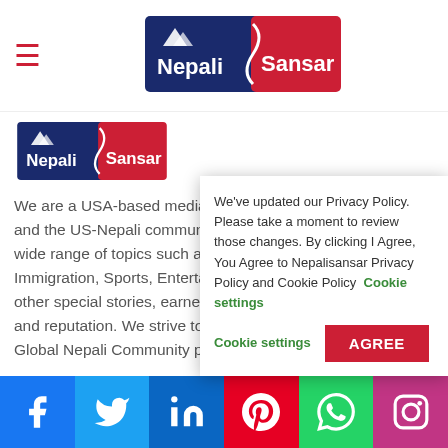Nepali Sansar (navigation bar with hamburger menu and logo)
[Figure (logo): Nepali Sansar logo — dark blue left portion with 'Nepali' text and mountain graphic, red right portion with 'Sansar' text, white swoosh/S curve divider]
We are a USA-based media house focused mainly on Nepal and the US-Nepali community. Our extensive coverage on a wide range of topics such as Latest News, Culture, Tourism, Immigration, Sports, Entertainment, Health, and various other special stories, earned us a decent online presence and reputation. We strive to continue the same to keep the Global Nepali Community pertaining to Nepal
Our Location
We've updated our Privacy Policy. Please take a moment to review those changes. By clicking I Agree, You Agree to Nepalisansar Privacy Policy and Cookie Policy Cookie settings AGREE
Social share bar: Facebook, Twitter, LinkedIn, Pinterest, WhatsApp, Instagram